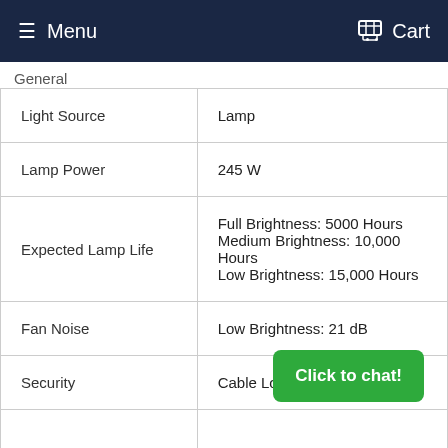Menu  Cart
General
| Light Source | Lamp |
| Lamp Power | 245 W |
| Expected Lamp Life | Full Brightness: 5000 Hours
Medium Brightness: 10,000 Hours
Low Brightness: 15,000 Hours |
| Fan Noise | Low Brightness: 21 dB |
| Security | Cable Lock |
Click to chat!